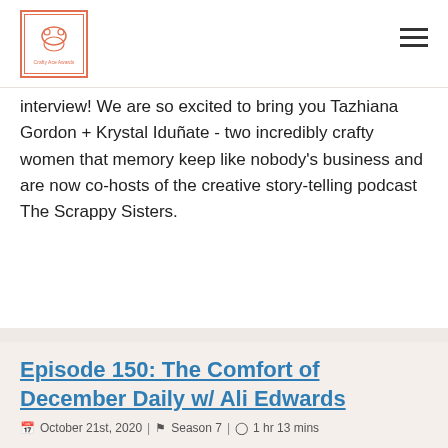Crafty Ace Awards logo | hamburger menu
interview! We are so excited to bring you Tazhiana Gordon + Krystal Iduñate - two incredibly crafty women that memory keep like nobody's business and are now co-hosts of the creative story-telling podcast The Scrappy Sisters.
Episode 150: The Comfort of December Daily w/ Ali Edwards
October 21st, 2020 | Season 7 | 1 hr 13 mins
We couldn't be more thrilled to bring back (for the third time) our very first guest interviewee, Ali Edwards, to the show today with this very special episode.